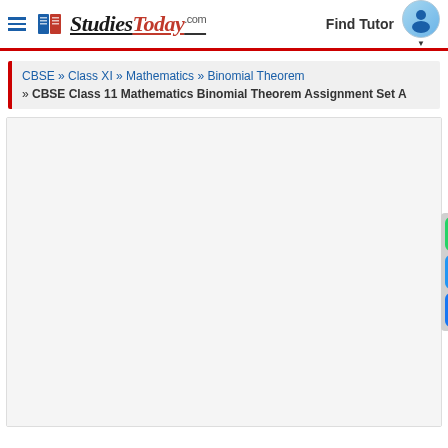StudiesToday.com — Find Tutor
CBSE » Class XI » Mathematics » Binomial Theorem » CBSE Class 11 Mathematics Binomial Theorem Assignment Set A
[Figure (screenshot): Empty white/light gray content area placeholder for embedded document or advertisement]